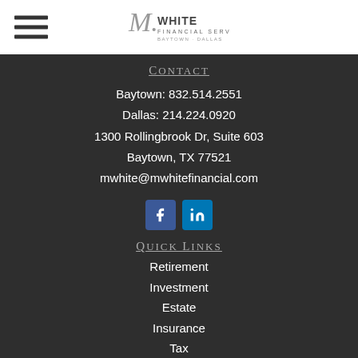[Figure (logo): M.White Financial Services logo with stylized M and subtitle Baytown + Dallas]
Contact
Baytown: 832.514.2551
Dallas: 214.224.0920
1300 Rollingbrook Dr, Suite 603
Baytown, TX 77521
mwhite@mwhitefinancial.com
[Figure (other): Facebook and LinkedIn social media icon buttons]
Quick Links
Retirement
Investment
Estate
Insurance
Tax